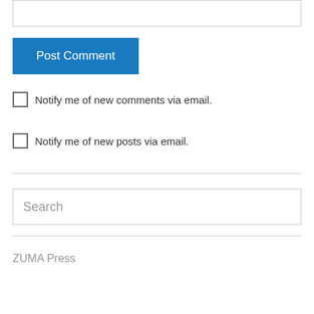[Figure (screenshot): Top portion of a textarea input field (partially visible at top of page)]
Post Comment
Notify me of new comments via email.
Notify me of new posts via email.
Search
ZUMA Press